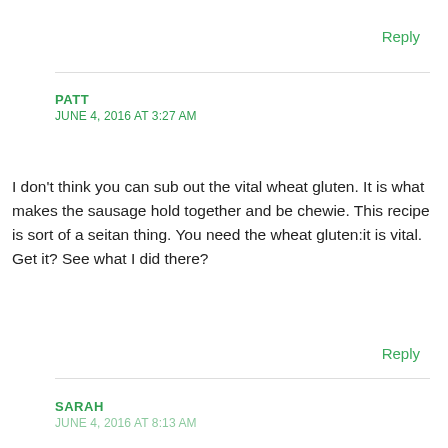Reply
PATT
JUNE 4, 2016 AT 3:27 AM
I don't think you can sub out the vital wheat gluten. It is what makes the sausage hold together and be chewie. This recipe is sort of a seitan thing. You need the wheat gluten:it is vital. Get it? See what I did there?
Reply
SARAH
JUNE 4, 2016 AT 8:13 AM